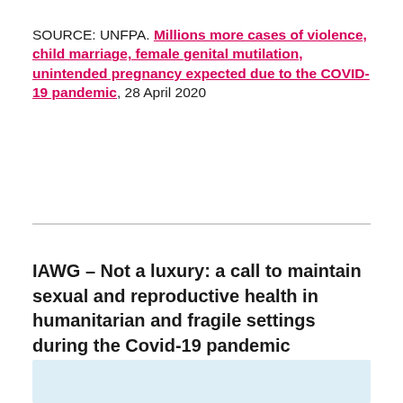SOURCE: UNFPA. Millions more cases of violence, child marriage, female genital mutilation, unintended pregnancy expected due to the COVID-19 pandemic, 28 April 2020
IAWG – Not a luxury: a call to maintain sexual and reproductive health in humanitarian and fragile settings during the Covid-19 pandemic